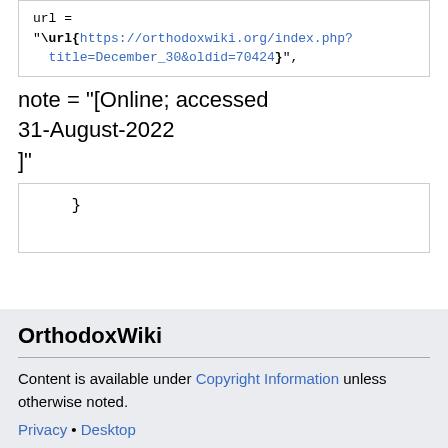url =
"\url{https://orthodoxwiki.org/index.php?title=December_30&oldid=70424}",
note = "[Online; accessed 31-August-2022
]"
}
OrthodoxWiki
Content is available under Copyright Information unless otherwise noted.
Privacy • Desktop